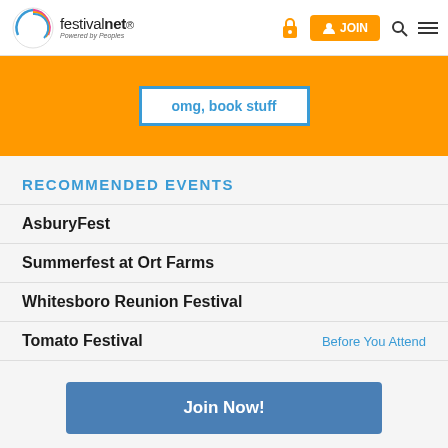festivalnet. Powered by Peoples | JOIN
[Figure (screenshot): Orange banner with white inner box and blue border containing text 'omg, book stuff']
RECOMMENDED EVENTS
AsburyFest
Summerfest at Ort Farms
Whitesboro Reunion Festival
Tomato Festival    Before You Attend
Join Now!